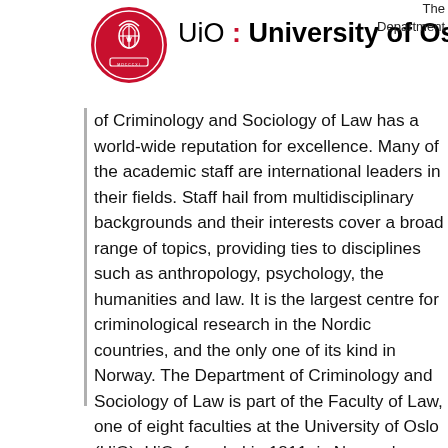[Figure (logo): University of Oslo circular red seal/crest logo]
UiO : University of Oslo
The Department of Criminology and Sociology of Law has a world-wide reputation for excellence. Many of the academic staff are international leaders in their fields. Staff hail from multidisciplinary backgrounds and their interests cover a broad range of topics, providing ties to disciplines such as anthropology, psychology, the humanities and law. It is the largest centre for criminological research in the Nordic countries, and the only one of its kind in Norway. The Department of Criminology and Sociology of Law is part of the Faculty of Law, one of eight faculties at the University of Oslo (UiO). UiO, founded in 1811, is Norway's leading institution of research and higher education, with approximately 4500 graduates per year.